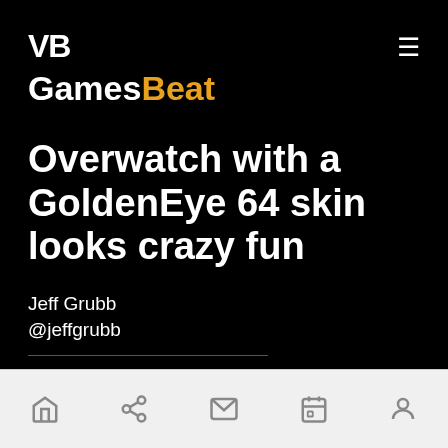VB GamesBeat
Overwatch with a GoldenEye 64 skin looks crazy fun
Jeff Grubb
@jeffgrubb
February 15, 2017 10:20 AM
Home | Share | Mail | Calendar | Profile